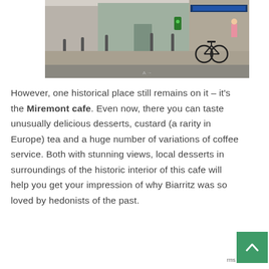[Figure (photo): Street scene showing a cobblestone plaza with bollards, a parked bicycle leaning against a modern building storefront, and a person in pink visible near the entrance. Glass-fronted commercial buildings line the background.]
However, one historical place still remains on it – it's the Miremont cafe. Even now, there you can taste unusually delicious desserts, custard (a rarity in Europe) tea and a huge number of variations of coffee service. Both with stunning views, local desserts in surroundings of the historic interior of this cafe will help you get your impression of why Biarritz was so loved by hedonists of the past.